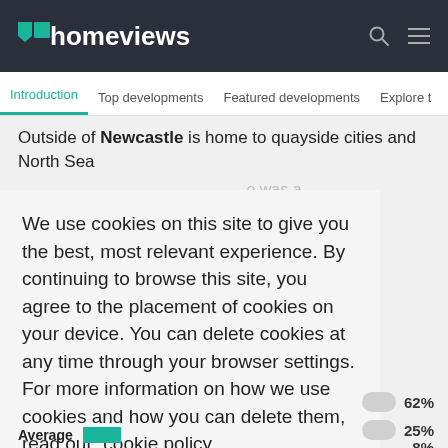homeviews
Introduction | Top developments | Featured developments | Explore t
Outside of Newcastle is home to quayside cities and North Sea
We use cookies on this site to give you the best, most relevant experience. By continuing to browse this site, you agree to the placement of cookies on your device. You can delete cookies at any time through your browser settings. For more information on how we use cookies and how you can delete them, read our cookie policy
Got it
62%
25%
8%
Average